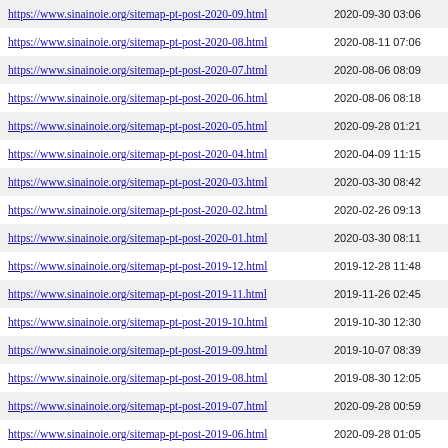| URL | Date |
| --- | --- |
| https://www.sinainoie.org/sitemap-pt-post-2020-09.html | 2020-09-30 03:06 |
| https://www.sinainoie.org/sitemap-pt-post-2020-08.html | 2020-08-11 07:06 |
| https://www.sinainoie.org/sitemap-pt-post-2020-07.html | 2020-08-06 08:09 |
| https://www.sinainoie.org/sitemap-pt-post-2020-06.html | 2020-08-06 08:18 |
| https://www.sinainoie.org/sitemap-pt-post-2020-05.html | 2020-09-28 01:21 |
| https://www.sinainoie.org/sitemap-pt-post-2020-04.html | 2020-04-09 11:15 |
| https://www.sinainoie.org/sitemap-pt-post-2020-03.html | 2020-03-30 08:42 |
| https://www.sinainoie.org/sitemap-pt-post-2020-02.html | 2020-02-26 09:13 |
| https://www.sinainoie.org/sitemap-pt-post-2020-01.html | 2020-03-30 08:11 |
| https://www.sinainoie.org/sitemap-pt-post-2019-12.html | 2019-12-28 11:48 |
| https://www.sinainoie.org/sitemap-pt-post-2019-11.html | 2019-11-26 02:45 |
| https://www.sinainoie.org/sitemap-pt-post-2019-10.html | 2019-10-30 12:30 |
| https://www.sinainoie.org/sitemap-pt-post-2019-09.html | 2019-10-07 08:39 |
| https://www.sinainoie.org/sitemap-pt-post-2019-08.html | 2019-08-30 12:05 |
| https://www.sinainoie.org/sitemap-pt-post-2019-07.html | 2020-09-28 00:59 |
| https://www.sinainoie.org/sitemap-pt-post-2019-06.html | 2020-09-28 01:05 |
| https://www.sinainoie.org/sitemap-pt-post-2019-05.html | 2019-06-04 04:43 |
| https://www.sinainoie.org/sitemap-pt-post-2019-04.html | 2020-09-28 01:08 |
| https://www.sinainoie.org/sitemap-pt-post-2019-03.html | 2019-03-26 23:47 |